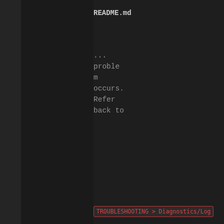README.md
... problem occurs. Refer back to
[Figure (screenshot): Inline code pill showing: TROUBLESHOOTING > Diagnostics/Log]
for additional details.
Why won'